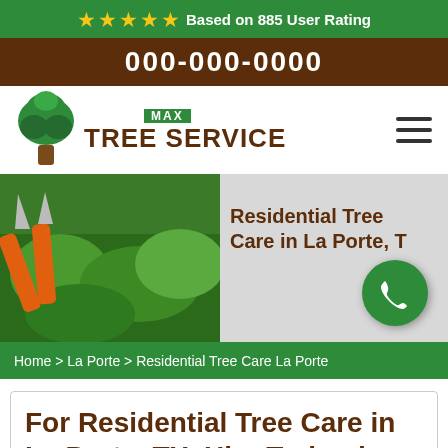★★★★★ Based on 885 User Rating
000-000-0000
[Figure (logo): Max Tree Service logo with green tree icon]
[Figure (photo): Residential tree care / pruning shears cutting green hedge, with text: Residential Tree Care in La Porte, TX and green phone button]
Home > La Porte > Residential Tree Care La Porte
For Residential Tree Care in La Porte, TX, Hire Trained Tree Care